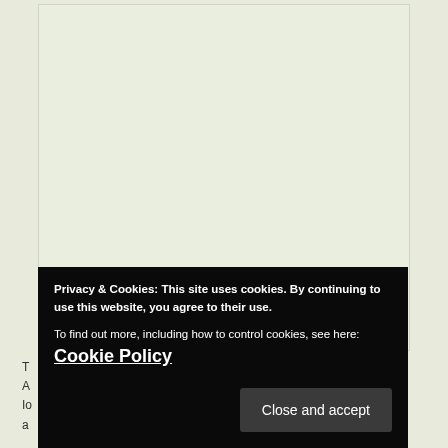[Figure (other): Light-colored rectangular content area with pale green/cream background]
T
A
Io
a
Privacy & Cookies: This site uses cookies. By continuing to use this website, you agree to their use.
To find out more, including how to control cookies, see here: Cookie Policy
Close and accept